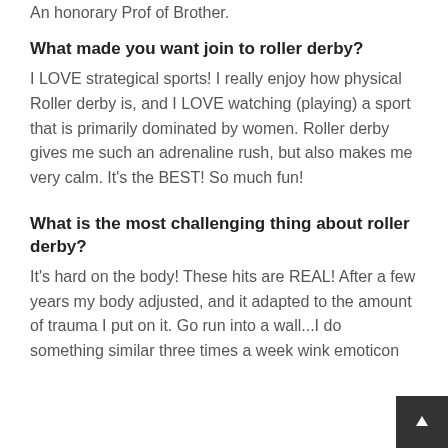An honorary Prof of Brother.
What made you want join to roller derby?
I LOVE strategical sports! I really enjoy how physical Roller derby is, and I LOVE watching (playing) a sport that is primarily dominated by women. Roller derby gives me such an adrenaline rush, but also makes me very calm. It's the BEST! So much fun!
What is the most challenging thing about roller derby?
It's hard on the body! These hits are REAL! After a few years my body adjusted, and it adapted to the amount of trauma I put on it. Go run into a wall...I do something similar three times a week wink emoticon